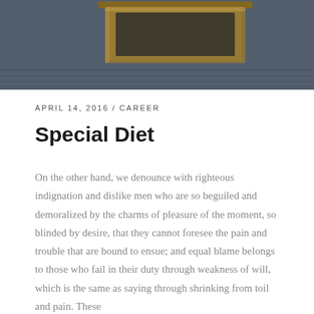[Figure (photo): Top portion of a photo showing a wooden tray or tablet holder on a dark textured knit fabric background]
APRIL 14, 2016 / CAREER
Special Diet
On the other hand, we denounce with righteous indignation and dislike men who are so beguiled and demoralized by the charms of pleasure of the moment, so blinded by desire, that they cannot foresee the pain and trouble that are bound to ensue; and equal blame belongs to those who fail in their duty through weakness of will, which is the same as saying through shrinking from toil and pain. These